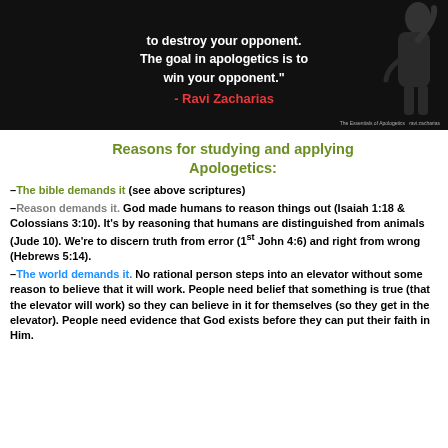[Figure (photo): Dark background image with a person gesturing, overlaid with a quote: 'to destroy your opponent. The goal in apologetics is to win your opponent.' - Ravi Zacharias (in red text)]
Reasons for studying and applying Apologetics:
–The bible demands it (see above scriptures)
–Reason demands it. God made humans to reason things out (Isaiah 1:18 & Colossians 3:10). It's by reasoning that humans are distinguished from animals (Jude 10). We're to discern truth from error (1st John 4:6) and right from wrong (Hebrews 5:14).
–The world demands it. No rational person steps into an elevator without some reason to believe that it will work. People need belief that something is true (that the elevator will work) so they can believe in it for themselves (so they get in the elevator). People need evidence that God exists before they can put their faith in Him.